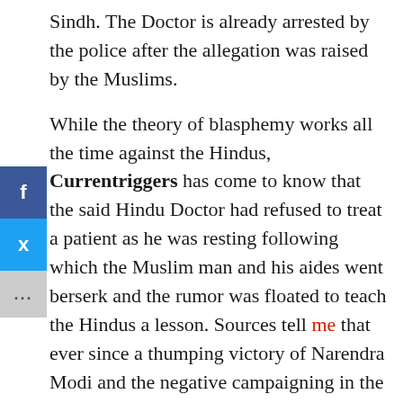Sindh. The Doctor is already arrested by the police after the allegation was raised by the Muslims.
While the theory of blasphemy works all the time against the Hindus, Currentriggers has come to know that the said Hindu Doctor had refused to treat a patient as he was resting following which the Muslim man and his aides went berserk and the rumor was floated to teach the Hindus a lesson. Sources tell me that ever since a thumping victory of Narendra Modi and the negative campaigning in the Pak media on a 'rising Hindu nationalism' in India, they were fearing such an attack.